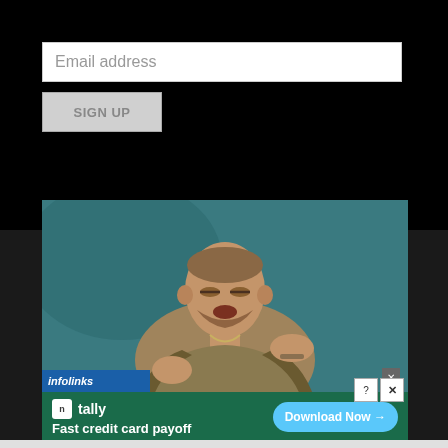Email address
SIGN UP
[Figure (photo): Screenshot of a webpage showing a music video player with a man gesturing against a teal background, overlaid with an infolinks ad banner for Tally - Fast credit card payoff with a Download Now button]
infolinks
tally Fast credit card payoff
Download Now →